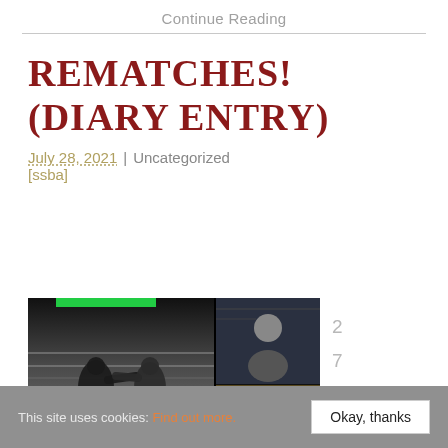Continue Reading
REMATCHES! (DIARY ENTRY)
July 28, 2021 | Uncategorized
[ssba]
[Figure (photo): Split image: left side shows a black-and-white boxing match photo with two fighters in a ring; right side shows a video call screenshot with a person on top and an image at the bottom. A green bar appears at the top of the image.]
27
.
07
This site uses cookies: Find out more. Okay, thanks